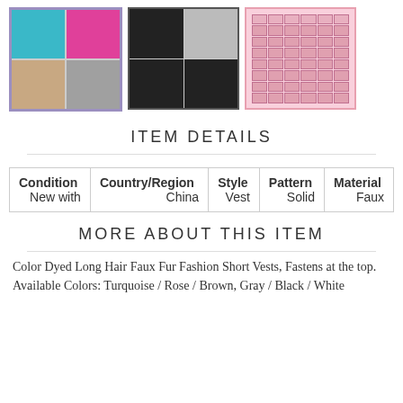[Figure (photo): Three product images: colorful fur vest collage, black fur vest photos, and a size chart on pink background]
ITEM DETAILS
| Condition | Country/Region | Style | Pattern | Material |
| --- | --- | --- | --- | --- |
| New with | China | Vest | Solid | Faux |
MORE ABOUT THIS ITEM
Color Dyed Long Hair Faux Fur Fashion Short Vests, Fastens at the top.
Available Colors: Turquoise / Rose / Brown, Gray / Black / White